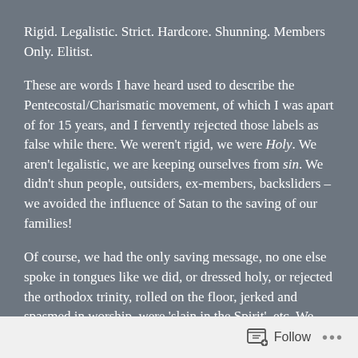Rigid. Legalistic. Strict. Hardcore. Shunning. Members Only. Elitist.
These are words I have heard used to describe the Pentecostal/Charismatic movement, of which I was apart of for 15 years, and I fervently rejected those labels as false while there. We weren't rigid, we were Holy. We aren't legalistic, we are keeping ourselves from sin. We didn't shun people, outsiders, ex-members, backsliders – we avoided the influence of Satan to the saving of our families!
Of course, we had the only saving message, no one else spoke in tongues like we did, or dressed holy, or rejected the orthodox trinity, rolled on the floor, jerked and spasmed in worship, were 'slain in the Spirit', etc. We were the True Church, the Body of Christ. Others may have been sincere, but
Follow ···